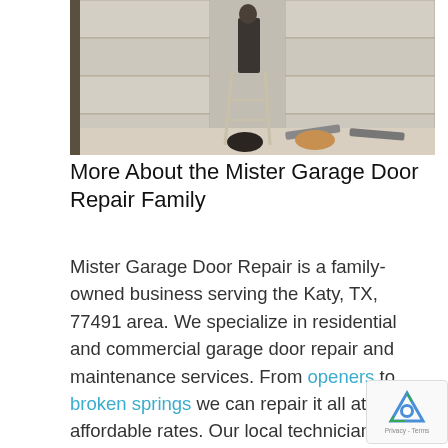[Figure (photo): A person standing on a ladder next to a garage door, with tools and springs on the floor below.]
More About the Mister Garage Door Repair Family
Mister Garage Door Repair is a family-owned business serving the Katy, TX, 77491 area. We specialize in residential and commercial garage door repair and maintenance services. From openers to broken springs we can repair it all at affordable rates. Our local technicians are always on time, they will go over all your repair options in detail and will give you an upfront